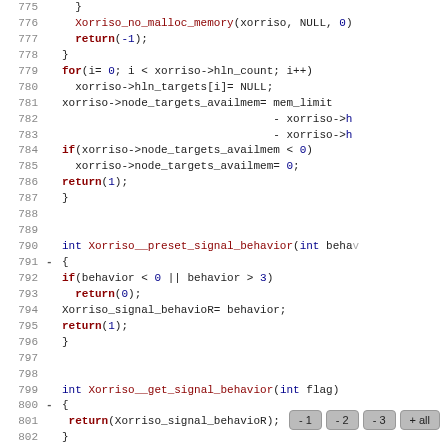[Figure (screenshot): Source code viewer showing C code lines 775-803 with syntax highlighting. Keywords in dark red/bold, numeric literals and identifiers in dark blue. Line numbers shown in gray on the left. Diff markers (-) on lines 791 and 800. Navigation buttons (-1, -2, -3, +all) in bottom right.]